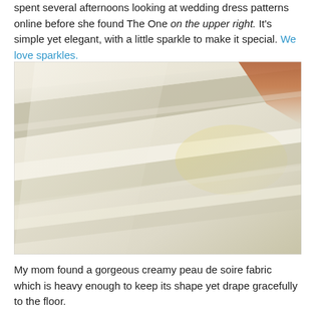spent several afternoons looking at wedding dress patterns online before she found The One on the upper right. It's simple yet elegant, with a little sparkle to make it special. We love sparkles.
[Figure (photo): Close-up photograph of creamy white/ivory silk or satin fabric with soft folds and gentle draping, with a hint of warm orange/brown at the upper right corner.]
My mom found a gorgeous creamy peau de soire fabric which is heavy enough to keep its shape yet drape gracefully to the floor.